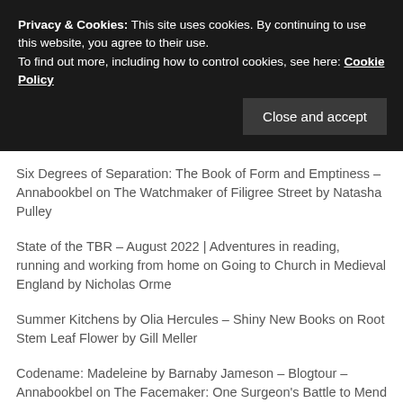Privacy & Cookies: This site uses cookies. By continuing to use this website, you agree to their use. To find out more, including how to control cookies, see here: Cookie Policy
Close and accept
Six Degrees of Separation: The Book of Form and Emptiness – Annabookbel on The Watchmaker of Filigree Street by Natasha Pulley
State of the TBR – August 2022 | Adventures in reading, running and working from home on Going to Church in Medieval England by Nicholas Orme
Summer Kitchens by Olia Hercules – Shiny New Books on Root Stem Leaf Flower by Gill Meller
Codename: Madeleine by Barnaby Jameson – Blogtour – Annabookbel on The Facemaker: One Surgeon's Battle to Mend the Disfigured Soldiers of World War I, by Lindsey Fitzharris